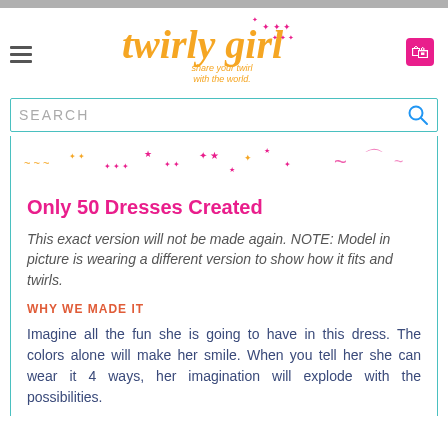[Figure (logo): Twirly Girl logo with orange cursive text and pink stars, tagline 'share your twirl with the world.']
[Figure (illustration): Decorative banner strip with pink and orange stars, swirls, and embellishments]
Only 50 Dresses Created
This exact version will not be made again. NOTE: Model in picture is wearing a different version to show how it fits and twirls.
WHY WE MADE IT
Imagine all the fun she is going to have in this dress. The colors alone will make her smile. When you tell her she can wear it 4 ways, her imagination will explode with the possibilities.